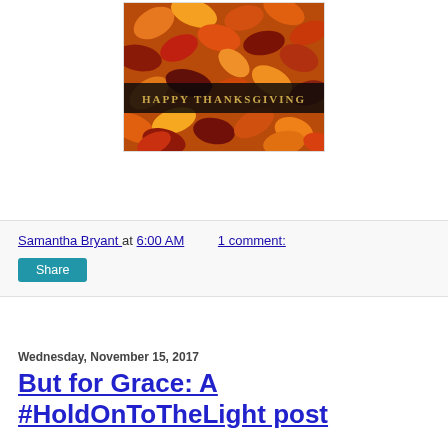[Figure (photo): A Thanksgiving greeting card image showing colorful autumn maple leaves (red, orange, gold) as background, with a dark banner across the middle displaying 'HAPPY THANKSGIVING' in gold serif letters.]
Samantha Bryant at 6:00 AM    1 comment:
Share
Wednesday, November 15, 2017
But for Grace: A #HoldOnToTheLight post